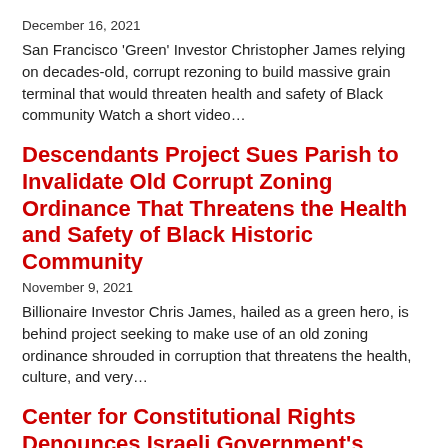December 16, 2021
San Francisco ‘Green’ Investor Christopher James relying on decades-old, corrupt rezoning to build massive grain terminal that would threaten health and safety of Black community Watch a short video…
Descendants Project Sues Parish to Invalidate Old Corrupt Zoning Ordinance That Threatens the Health and Safety of Black Historic Community
November 9, 2021
Billionaire Investor Chris James, hailed as a green hero, is behind project seeking to make use of an old zoning ordinance shrouded in corruption that threatens the health, culture, and very…
Center for Constitutional Rights Denounces Israeli Government’s Terrorist Designation of